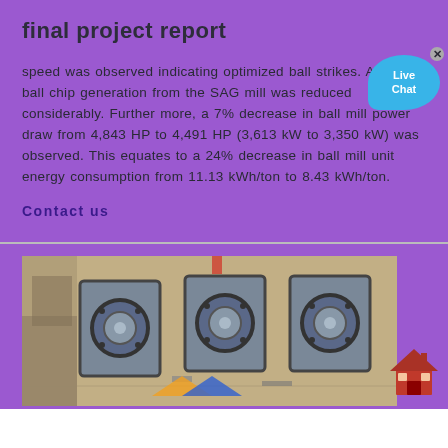final project report
speed was observed indicating optimized ball strikes. Also, the ball chip generation from the SAG mill was reduced considerably. Further more, a 7% decrease in ball mill power draw from 4,843 HP to 4,491 HP (3,613 kW to 3,350 kW) was observed. This equates to a 24% decrease in ball mill unit energy consumption from 11.13 kWh/ton to 8.43 kWh/ton.
Contact us
[Figure (photo): Aerial/top-down view of industrial ball mill machinery units on a work site, showing three large circular mill openings side by side]